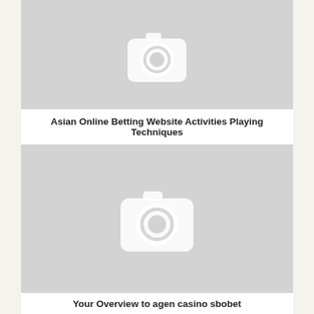[Figure (photo): Placeholder image with camera icon, top article thumbnail]
Asian Online Betting Website Activities Playing Techniques
[Figure (photo): Placeholder image with camera icon, bottom article thumbnail]
Your Overview to agen casino sbobet